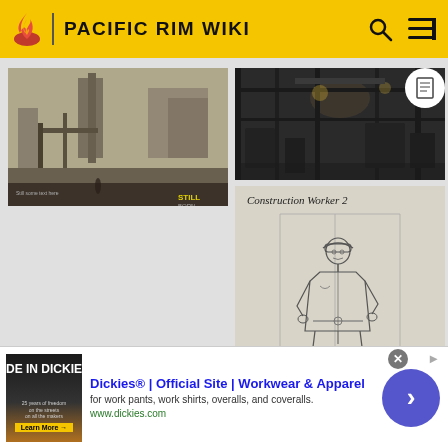PACIFIC RIM WIKI
[Figure (illustration): Concept art of a post-apocalyptic industrial shipyard with cranes, scaffolding, and a lone figure in the foreground]
[Figure (illustration): Dark industrial interior concept art with machinery and dim lighting]
[Figure (illustration): Pencil sketch character concept art labeled 'Construction Worker 2' showing a man in work gear with a hard hat]
Dickies® | Official Site | Workwear & Apparel
for work pants, work shirts, overalls, and coveralls.
www.dickies.com